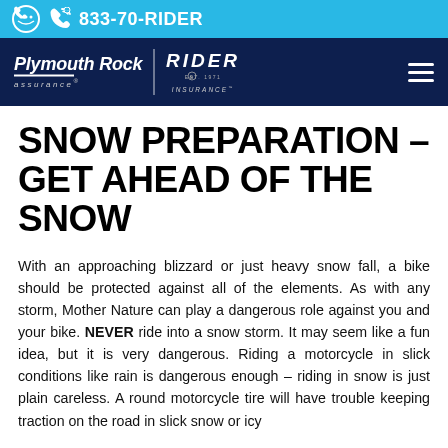833-70-RIDER
[Figure (logo): Plymouth Rock Assurance and Rider Insurance logos on dark navy navigation bar]
SNOW PREPARATION – GET AHEAD OF THE SNOW
With an approaching blizzard or just heavy snow fall, a bike should be protected against all of the elements. As with any storm, Mother Nature can play a dangerous role against you and your bike. NEVER ride into a snow storm. It may seem like a fun idea, but it is very dangerous. Riding a motorcycle in slick conditions like rain is dangerous enough – riding in snow is just plain careless. A round motorcycle tire will have trouble keeping traction on the road in slick snow or icy